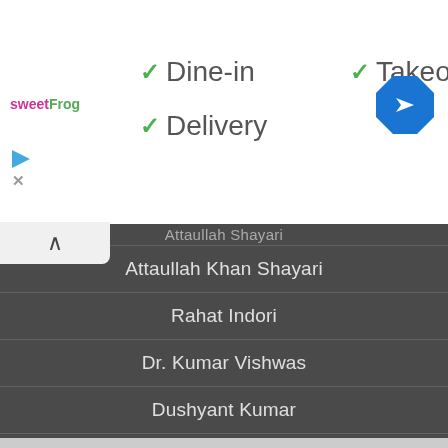[Figure (logo): sweetFrog logo in top left of white banner]
✓ Dine-in
✓ Takeout
✓ Delivery
[Figure (illustration): Blue diamond navigation arrow icon in top right]
Attaullah Khan Shayari (partially cut off at top)
Attaullah Khan Shayari
Rahat Indori
Dr. Kumar Vishwas
Dushyant Kumar
Quotes – Authorwise
Funny Questions/Answers
Interesting Facts